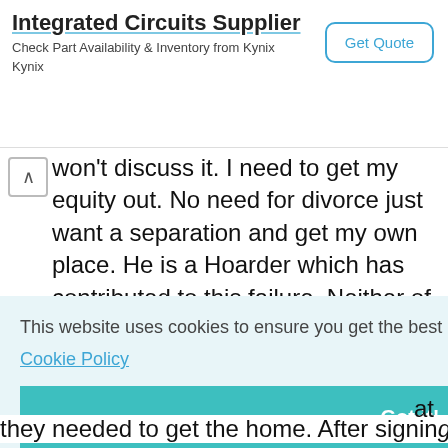[Figure (screenshot): Advertisement banner: Integrated Circuits Supplier. Check Part Availability & Inventory from Kynix. Kynix. Get Quote button.]
won't discuss it. I need to get my equity out. No need for divorce just want a separation and get my own place. He is a Hoarder which has contributed to this failure. Neither of us can afford to buy the other out. Desperate??
Elma - 26-Aug-21 @ 1:07 PM
of ack to
This website uses cookies to ensure you get the best experience on our website.
Cookie Policy
Got it!
at
they needed to get the home. After signing